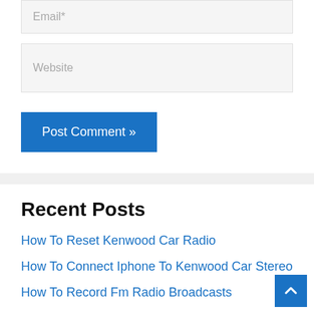Email*
Website
Post Comment »
Recent Posts
How To Reset Kenwood Car Radio
How To Connect Iphone To Kenwood Car Stereo
How To Record Fm Radio Broadcasts